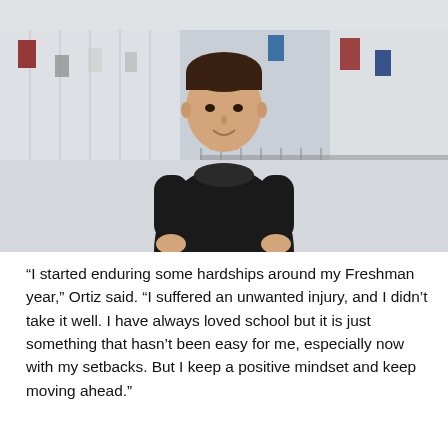[Figure (photo): Young male student in a black polo shirt standing in a school hallway with lockers, flags and banners visible in the background, smiling at the camera.]
“I started enduring some hardships around my Freshman year,” Ortiz said. “I suffered an unwanted injury, and I didn’t take it well. I have always loved school but it is just something that hasn’t been easy for me, especially now with my setbacks. But I keep a positive mindset and keep moving ahead.”